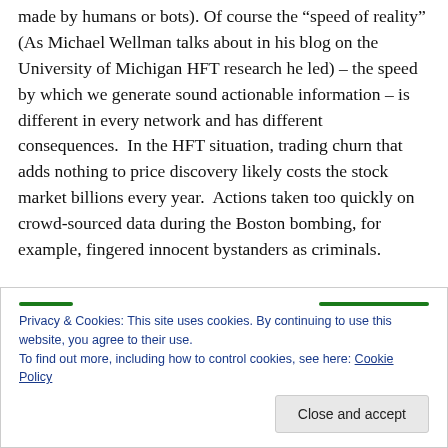made by humans or bots). Of course the “speed of reality” (As Michael Wellman talks about in his blog on the University of Michigan HFT research he led) – the speed by which we generate sound actionable information – is different in every network and has different consequences.  In the HFT situation, trading churn that adds nothing to price discovery likely costs the stock market billions every year.  Actions taken too quickly on crowd-sourced data during the Boston bombing, for example, fingered innocent bystanders as criminals.
Privacy & Cookies: This site uses cookies. By continuing to use this website, you agree to their use.
To find out more, including how to control cookies, see here: Cookie Policy